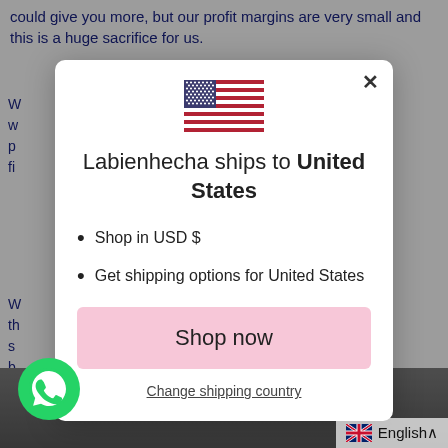could give you more, but our profit margins are very small and this is a huge sacrifice for us.
W
w
p
fi
W
th
s
b
F
[Figure (screenshot): Modal dialog showing US flag, text 'Labienhecha ships to United States', bullet points 'Shop in USD $' and 'Get shipping options for United States', a pink 'Shop now' button, and a 'Change shipping country' link]
[Figure (logo): WhatsApp green circle logo button in bottom left corner]
English